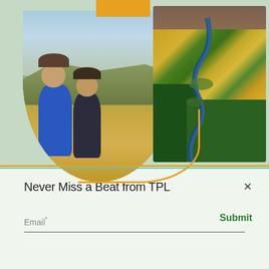[Figure (photo): Two hikers walking through golden grassy hillside with panoramic valley view in background]
[Figure (photo): Aerial view of winding river through autumn forest with yellow and green trees and mountain in background]
Never Miss a Beat from TPL
Email*
Submit